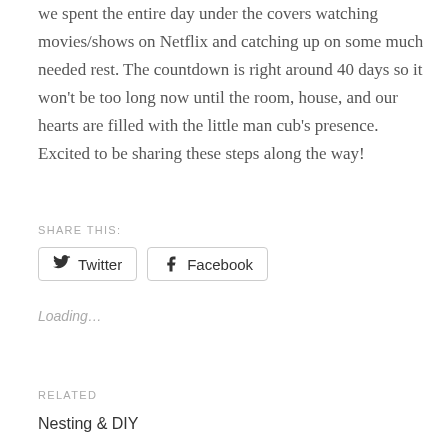we spent the entire day under the covers watching movies/shows on Netflix and catching up on some much needed rest. The countdown is right around 40 days so it won't be too long now until the room, house, and our hearts are filled with the little man cub's presence. Excited to be sharing these steps along the way!
SHARE THIS:
Twitter  Facebook
Loading...
RELATED
Nesting & DIY